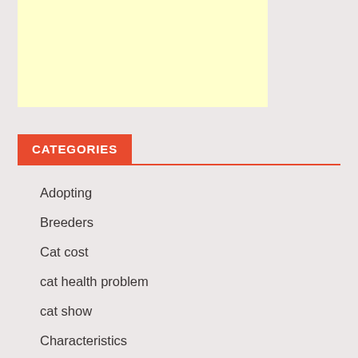[Figure (other): Yellow/cream colored advertisement banner placeholder]
CATEGORIES
Adopting
Breeders
Cat cost
cat health problem
cat show
Characteristics
Coon Kittens Cost